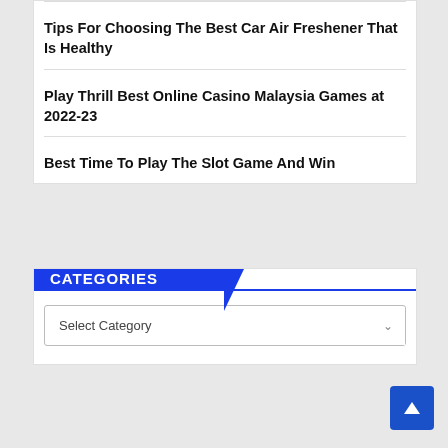Tips For Choosing The Best Car Air Freshener That Is Healthy
Play Thrill Best Online Casino Malaysia Games at 2022-23
Best Time To Play The Slot Game And Win
CATEGORIES
Select Category